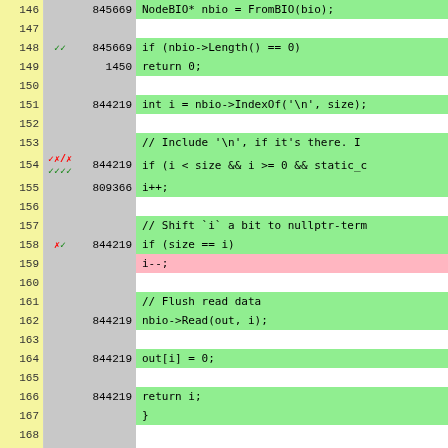[Figure (screenshot): Code coverage viewer showing C++ source code lines 146-171. Line numbers in yellow column on left, coverage marks and hit counts in grey columns, code in green (covered) or pink (uncovered) background. Shows NodeBIO::Readline/Ctrl function implementation.]